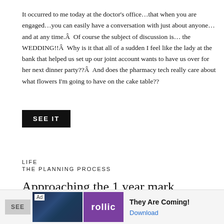It occurred to me today at the doctor's office…that when you are engaged…you can easily have a conversation with just about anyone…and at any time.Â  Of course the subject of discussion is… the WEDDING!!Â  Why is it that all of a sudden I feel like the lady at the bank that helped us set up our joint account wants to have us over for her next dinner party??Â  And does the pharmacy tech really care about what flowers I'm going to have on the cake table??
[Figure (other): Black button with white text reading SEE IT]
LIFE
THE PLANNING PROCESS
Approaching the 1 year mark...
…of being engaged…..and we still have 8 more months to go.
[Figure (other): Advertisement bar at bottom with Ad label, game graphic, Rollic purple logo, 'They Are Coming!' text, and Download link]